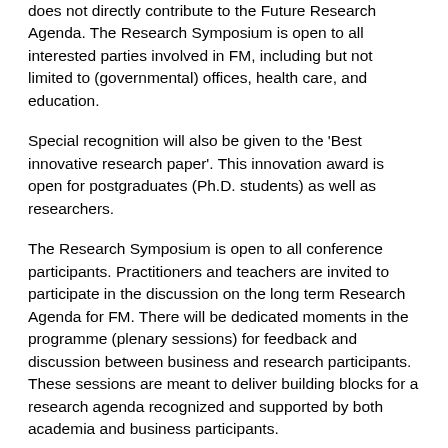does not directly contribute to the Future Research Agenda. The Research Symposium is open to all interested parties involved in FM, including but not limited to (governmental) offices, health care, and education.
Special recognition will also be given to the 'Best innovative research paper'. This innovation award is open for postgraduates (Ph.D. students) as well as researchers.
The Research Symposium is open to all conference participants. Practitioners and teachers are invited to participate in the discussion on the long term Research Agenda for FM. There will be dedicated moments in the programme (plenary sessions) for feedback and discussion between business and research participants. These sessions are meant to deliver building blocks for a research agenda recognized and supported by both academia and business participants.
An abstract of maximum 300 words should be submitted electronically using only the forms provided on the EFMC web page www.efmc2009.com indicating that it is to be considered as a research paper. All abstracts and final papers must be